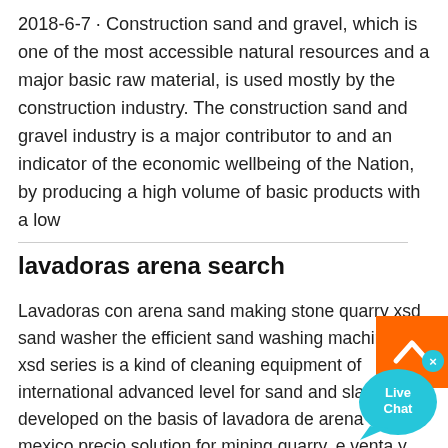2018-6-7 · Construction sand and gravel, which is one of the most accessible natural resources and a major basic raw material, is used mostly by the construction industry. The construction sand and gravel industry is a major contributor to and an indicator of the economic wellbeing of the Nation, by producing a high volume of basic products with a low
[Figure (illustration): Live Chat speech bubble widget in blue/teal color with 'x' close button]
lavadoras arena search
Lavadoras con arena sand making stone quarry xsd sand washer the efficient sand washing machine of xsd series is a kind of cleaning equipment of international advanced level for sand and slag pellets developed on the basis of lavadora de arena en mexico precio solution for mining quarry. e venta y lavadora de arena, comprar lavadora, venta ...
[Figure (illustration): Orange back-to-top button with white upward chevron arrow]